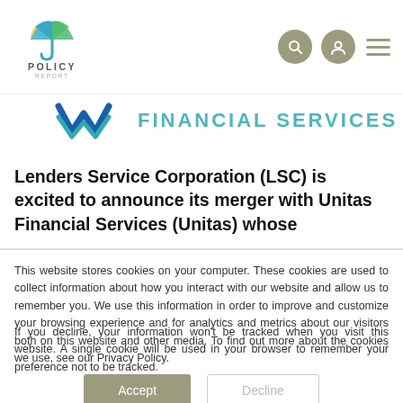POLICY REPORT — navigation header with logo, search, user, and menu icons
[Figure (logo): Partial banner with Unitas Financial Services logo (blue/teal checkmark W shape) and partial text 'FINANCIAL SERVICES' cut off]
Lenders Service Corporation (LSC) is excited to announce its merger with Unitas Financial Services (Unitas) whose
This website stores cookies on your computer. These cookies are used to collect information about how you interact with our website and allow us to remember you. We use this information in order to improve and customize your browsing experience and for analytics and metrics about our visitors both on this website and other media. To find out more about the cookies we use, see our Privacy Policy.
If you decline, your information won't be tracked when you visit this website. A single cookie will be used in your browser to remember your preference not to be tracked.